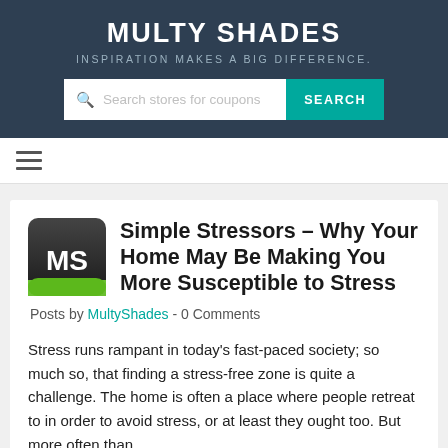MULTY SHADES
INSPIRATION MAKES A BIG DIFFERENCE.
Simple Stressors – Why Your Home May Be Making You More Susceptible to Stress
Posts by MultyShades  -  0 Comments
Stress runs rampant in today's fast-paced society; so much so, that finding a stress-free zone is quite a challenge. The home is often a place where people retreat to in order to avoid stress, or at least they ought too. But more often than